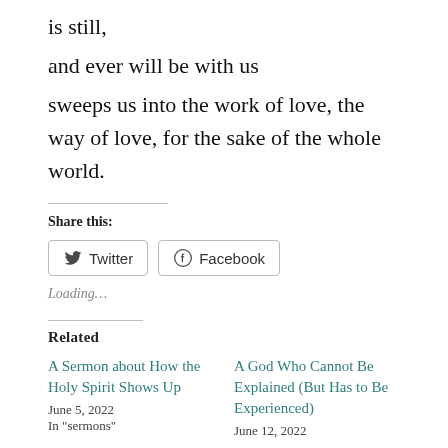is still,
and ever will be with us
sweeps us into the work of love, the way of love, for the sake of the whole world.
Share this:
Loading...
Related
A Sermon about How the Holy Spirit Shows Up
June 5, 2022
In "sermons"
A God Who Cannot Be Explained (But Has to Be Experienced)
June 12, 2022